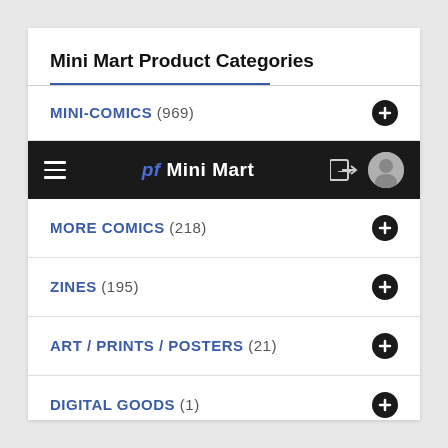Mini Mart Product Categories
MINI-COMICS (969)
[Figure (screenshot): Navigation bar with hamburger menu, 'pf Mini Mart' logo, login icon, and avatar icon on dark background]
MORE COMICS (218)
ZINES (195)
ART / PRINTS / POSTERS (21)
DIGITAL GOODS (1)
MISCELLANEOUS (3)